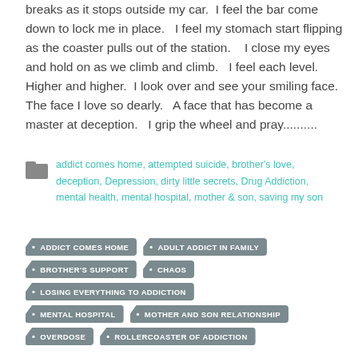breaks as it stops outside my car.  I feel the bar come down to lock me in place.   I feel my stomach start flipping as the coaster pulls out of the station.    I close my eyes and hold on as we climb and climb.   I feel each level.  Higher and higher.  I look over and see your smiling face.  The face I love so dearly.   A face that has become a master at deception.   I grip the wheel and pray..........
addict comes home, attempted suicide, brother's love, deception, Depression, dirty little secrets, Drug Addiction, mental health, mental hospital, mother & son, saving my son
ADDICT COMES HOME
ADULT ADDICT IN FAMILY
BROTHER'S SUPPORT
CHAOS
LOSING EVERYTHING TO ADDICTION
MENTAL HOSPITAL
MOTHER AND SON RELATIONSHIP
OVERDOSE
ROLLERCOASTER OF ADDICTION